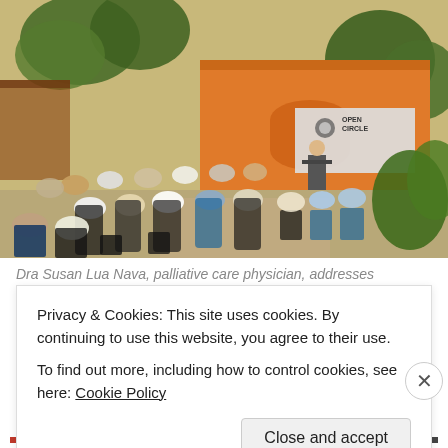[Figure (photo): Outdoor gathering at Open Circle event. A large group of people seated on plastic chairs in a garden setting, facing a speaker at a podium. An orange building with an 'Open Circle' banner/sign is visible in the background, surrounded by trees and greenery.]
Dra Susan Lua Nava, palliative care physician, addresses
Privacy & Cookies: This site uses cookies. By continuing to use this website, you agree to their use.
To find out more, including how to control cookies, see here: Cookie Policy